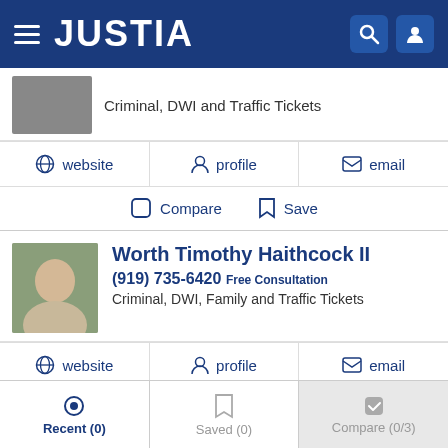JUSTIA
Criminal, DWI and Traffic Tickets
website | profile | email
Compare  Save
Worth Timothy Haithcock II
(919) 735-6420  Free Consultation
Criminal, DWI, Family and Traffic Tickets
website | profile | email
Compare  Save
Hayes C. Ludlum
Recent (0)   Saved (0)   Compare (0/3)